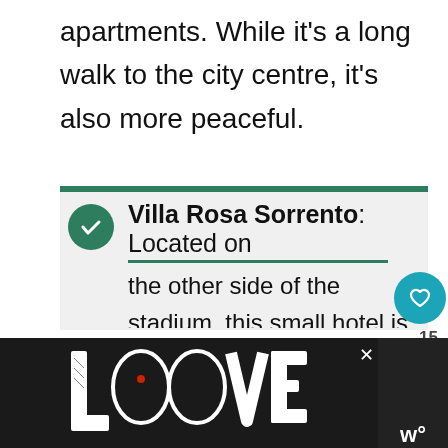apartments. While it's a long walk to the city centre, it's also more peaceful.
Villa Rosa Sorrento: Located on the other side of the stadium, this small hotel is the furthest from the city centre. It's also one of the more peaceful locations. Get away from the noise near the bay and
[Figure (other): LOOVE advertisement banner with decorative black and white tattoo-style text art logo]
[Figure (other): Heart/favorite button showing 15 likes, share button, and What's Next promo showing Where to Stay in Naples article]